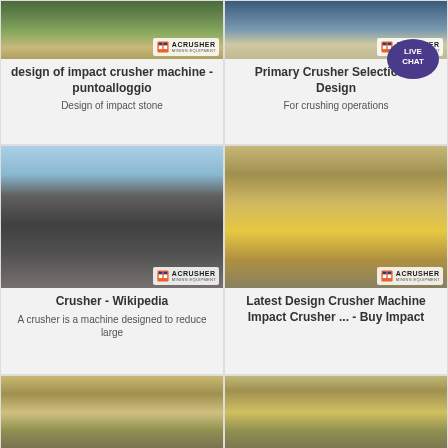[Figure (photo): Mining/quarry site with water and ACRUSHER mining equipment logo]
design of impact crusher machine - puntoalloggio
Design of impact stone
[Figure (photo): Person at quarry site with ACRUSHER mining equipment logo and LIVE CHAT bubble]
Primary Crusher Selection & Design
For crushing operations
[Figure (photo): Large crushing plant machinery with ACRUSHER logo]
Crusher - Wikipedia
A crusher is a machine designed to reduce large
[Figure (photo): Yellow industrial impact crusher machine with ACRUSHER logo]
Latest Design Crusher Machine Impact Crusher ... - Buy Impact
[Figure (photo): Mining machinery at quarry, partial view]
[Figure (photo): Mining machinery at quarry, partial view right]